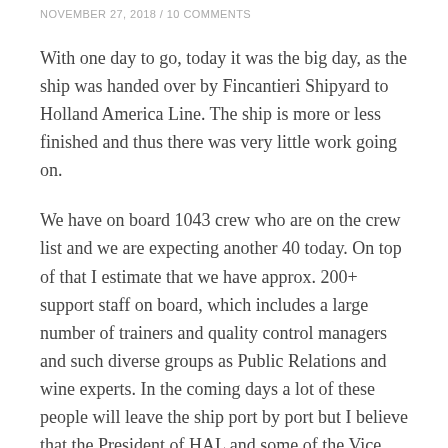NOVEMBER 27, 2018 / 10 COMMENTS
With one day to go, today it was the big day, as the ship was handed over by Fincantieri Shipyard to Holland America Line. The ship is more or less finished and thus there was very little work going on.
We have on board 1043 crew who are on the crew list and we are expecting another 40 today. On top of that I estimate that we have approx. 200+ support staff on board, which includes a large number of trainers and quality control managers and such diverse groups as Public Relations and wine experts. In the coming days a lot of these people will leave the ship port by port but I believe that the President of HAL and some of the Vice Presidents are staying on board until into next cruise.
Last night there was a cocktail party and subsequent